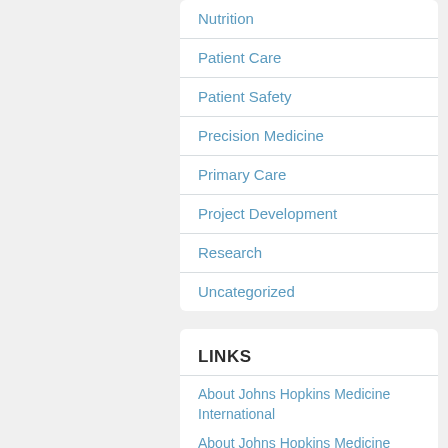Nutrition
Patient Care
Patient Safety
Precision Medicine
Primary Care
Project Development
Research
Uncategorized
LINKS
About Johns Hopkins Medicine International
About Johns Hopkins Medicine
Johns Hopkins Medicine International on LinkedIn